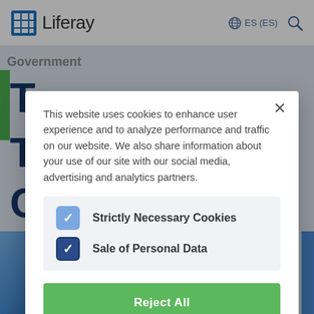[Figure (screenshot): Liferay website header with logo, globe icon, ES (ES) language selector, and search icon]
This website uses cookies to enhance user experience and to analyze performance and traffic on our website. We also share information about your use of our site with our social media, advertising and analytics partners.
Strictly Necessary Cookies (checked)
Sale of Personal Data (checked)
Reject All
Accept Cookies
Save Choices